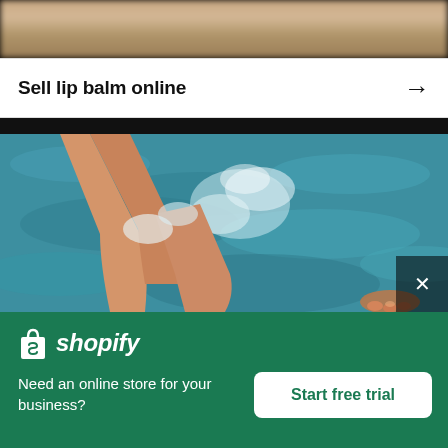[Figure (photo): Blurred top strip showing background image (skin/hair tones, blurred)]
Sell lip balm online →
[Figure (photo): Aerial view of person's legs/feet splashing in blue water/pool, with another foot visible at lower right]
[Figure (logo): Shopify logo (bag icon + wordmark in white italic on green background)]
Need an online store for your business?
Start free trial